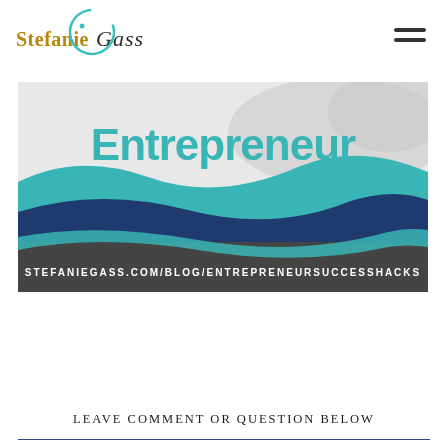[Figure (logo): Stefanie Gass logo with stylized script text and teal circular swoosh graphic]
[Figure (illustration): Banner image with the word 'Entrepreneur' in large bold teal text over a wave-pattern background in navy, teal, and grey colors. Bottom bar reads: STEFANIEGASS.COM/BLOG/ENTREPRENEURSUCCESSHACKS]
LEAVE COMMENT OR QUESTION BELOW